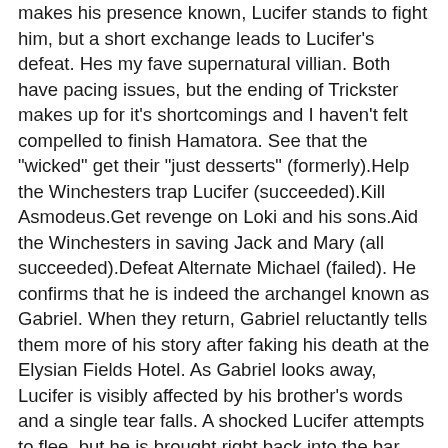makes his presence known, Lucifer stands to fight him, but a short exchange leads to Lucifer's defeat. Hes my fave supernatural villian. Both have pacing issues, but the ending of Trickster makes up for it's shortcomings and I haven't felt compelled to finish Hamatora. See that the "wicked" get their "just desserts" (formerly).Help the Winchesters trap Lucifer (succeeded).Kill Asmodeus.Get revenge on Loki and his sons.Aid the Winchesters in saving Jack and Mary (all succeeded).Defeat Alternate Michael (failed). He confirms that he is indeed the archangel known as Gabriel. When they return, Gabriel reluctantly tells them more of his story after faking his death at the Elysian Fields Hotel. As Gabriel looks away, Lucifer is visibly affected by his brother's words and a single tear falls. A shocked Lucifer attempts to flee, but he is brought right back into the bar. Gabriel then tries to kill Lucifer with his archangel blade, sneaking up on him from behind while a Gabriel copy is speaking. Hes my fave supernatural villian. He also has a goatee, which is actually somewhat hard to notice, since it's very thin. Gabriel is the only archangel who has only used one vessel. Trickster: the Indigenous